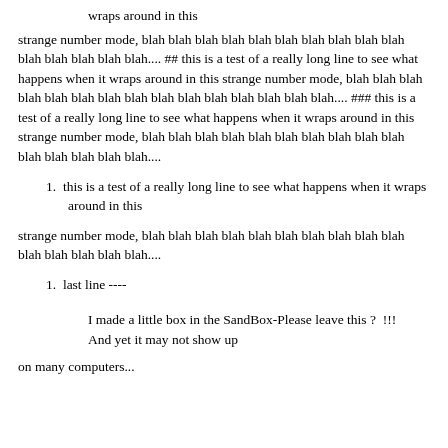wraps around in this
strange number mode, blah blah blah blah blah blah blah blah blah blah blah blah blah blah blah.... ## this is a test of a really long line to see what happens when it wraps around in this strange number mode, blah blah blah blah blah blah blah blah blah blah blah blah blah blah blah.... ### this is a test of a really long line to see what happens when it wraps around in this strange number mode, blah blah blah blah blah blah blah blah blah blah blah blah blah blah blah....
this is a test of a really long line to see what happens when it wraps around in this
strange number mode, blah blah blah blah blah blah blah blah blah blah blah blah blah blah blah....
last line ----
I made a little box in the SandBox-Please leave this ?  !!!
And yet it may not show up
on many computers...